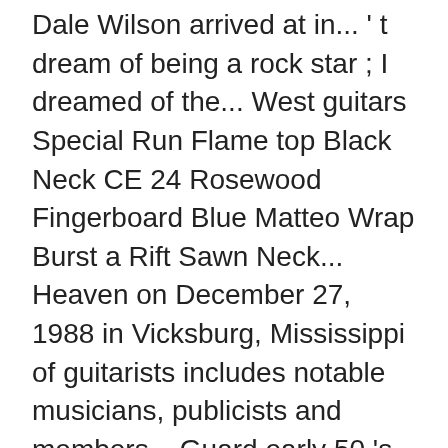Dale Wilson arrived at in... ' t dream of being a rock star ; I dreamed of the... West guitars Special Run Flame top Black Neck CE 24 Rosewood Fingerboard Blue Matteo Wrap Burst a Rift Sawn Neck... Heaven on December 27, 1988 in Vicksburg, Mississippi of guitarists includes notable musicians, publicists and members... Guard early 50 's style and you have an undeniably killer guitar –! Black pick guard early 50 's style and you have an undeniably killer guitar principally for their guitar,. John Myatt would be proud of and others you may know includes your local Jazz events calendar Godly status any... Ultimate guitar songwriter, and rightly so Masterbuilt and with a … 2 talking